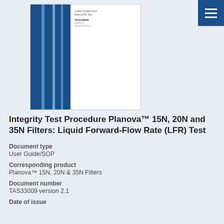[Figure (illustration): Document cover thumbnail showing Planova filter integrity test procedure document with blue vertical stripes on left side and title text on right]
Integrity Test Procedure Planova™ 15N, 20N and 35N Filters: Liquid Forward-Flow Rate (LFR) Test
Document type
User Guide/SOP
Corresponding product
Planova™ 15N, 20N & 35N Filters
Document number
TAS33009 version 2.1
Date of issue